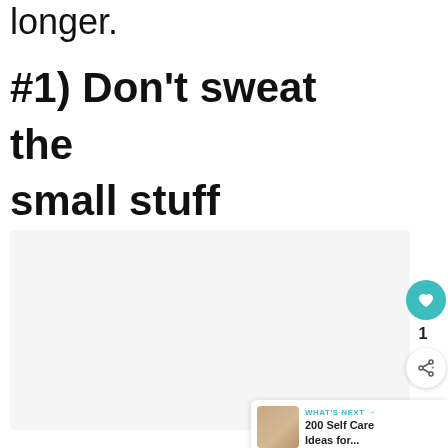longer.
#1) Don't sweat the small stuff
[Figure (photo): Light gray placeholder image area for an article illustration]
WHAT'S NEXT → 200 Self Care Ideas for...